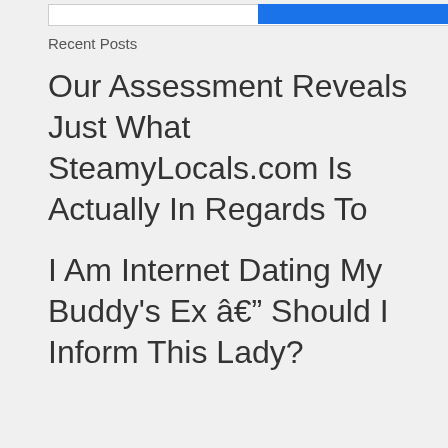Recent Posts
Our Assessment Reveals Just What SteamyLocals.com Is Actually In Regards To
I Am Internet Dating My Buddy's Ex â Should I Inform This Lady?